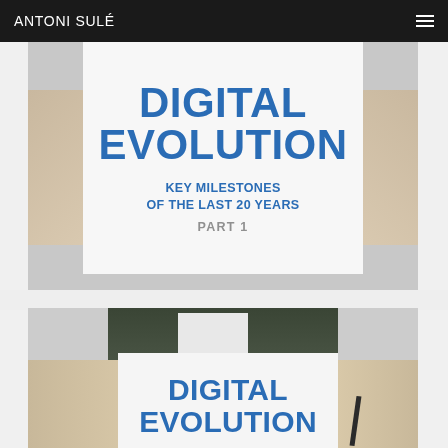ANTONI SULÉ
[Figure (photo): Person holding a white sign reading 'DIGITAL EVOLUTION / KEY MILESTONES OF THE LAST 20 YEARS / PART 1' in blue and grey text on a light background. Hands visible on both sides gripping the sign.]
[Figure (photo): Person in dark suit holding a white sign reading 'DIGITAL EVOLUTION' in bold blue text. Only the torso and hands are visible, partially cropped.]